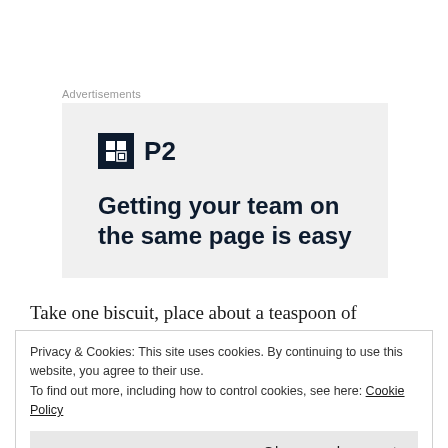Advertisements
[Figure (screenshot): Advertisement banner for P2 product with dark square logo icon and headline text 'Getting your team on the same page is easy']
Take one biscuit, place about a teaspoon of Raspberry Jam in the middle, take another biscuit and place on top ( I usually place the flatter of the sides facing
Privacy & Cookies: This site uses cookies. By continuing to use this website, you agree to their use.
To find out more, including how to control cookies, see here: Cookie Policy
Close and accept